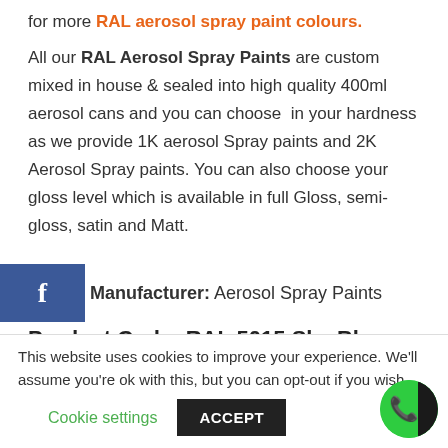for more RAL aerosol spray paint colours.
All our RAL Aerosol Spray Paints are custom mixed in house & sealed into high quality 400ml aerosol cans and you can choose in your hardness as we provide 1K aerosol Spray paints and 2K Aerosol Spray paints. You can also choose your gloss level which is available in full Gloss, semi-gloss, satin and Matt.
Manufacturer: Aerosol Spray Paints
Product Code: RAL 5015 Sky Blue Aerosol Spray Paint
Price: £8.99
This website uses cookies to improve your experience. We'll assume you're ok with this, but you can opt-out if you wish.
Cookie settings
ACCEPT